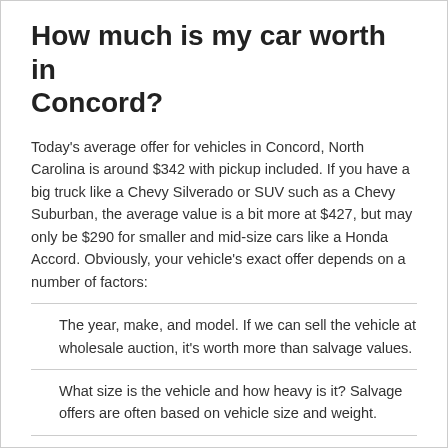How much is my car worth in Concord?
Today's average offer for vehicles in Concord, North Carolina is around $342 with pickup included. If you have a big truck like a Chevy Silverado or SUV such as a Chevy Suburban, the average value is a bit more at $427, but may only be $290 for smaller and mid-size cars like a Honda Accord. Obviously, your vehicle's exact offer depends on a number of factors:
The year, make, and model. If we can sell the vehicle at wholesale auction, it's worth more than salvage values.
What size is the vehicle and how heavy is it? Salvage offers are often based on vehicle size and weight.
Has the vehicle been in a wreck? Vehicles with good parts are sometimes worth more.